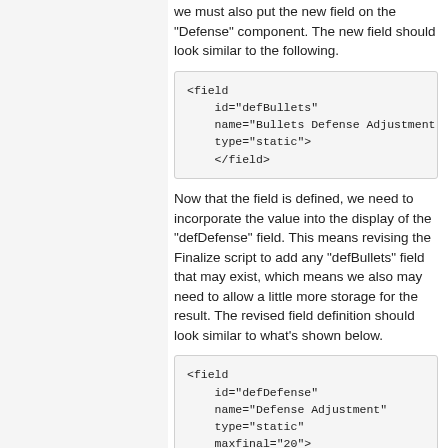we must also put the new field on the "Defense" component. The new field should look similar to the following.
<field
    id="defBullets"
    name="Bullets Defense Adjustment"
    type="static">
    </field>
Now that the field is defined, we need to incorporate the value into the display of the "defDefense" field. This means revising the Finalize script to add any "defBullets" field that may exist, which means we also may need to allow a little more storage for the result. The revised field definition should look similar to what's shown below.
<field
    id="defDefense"
    name="Defense Adjustment"
    type="static"
    maxfinal="20">
    <finalize><![CDATA[
        @text = "+" & @value